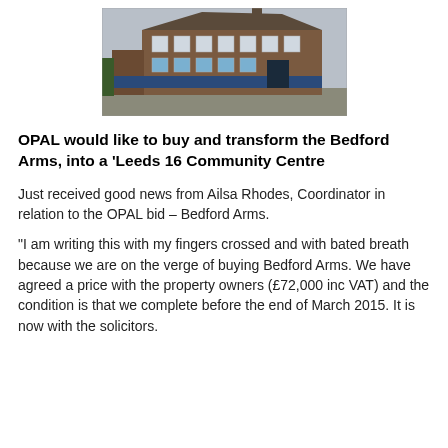[Figure (photo): Photograph of the Bedford Arms, a two-storey red-brick building with blue painted lower panels and dark double doors, viewed from street level on a cloudy day.]
OPAL would like to buy and transform the Bedford Arms, into a ‘Leeds 16 Community Centre
Just received good news from Ailsa Rhodes, Coordinator in relation to the OPAL bid – Bedford Arms.
“I am writing this with my fingers crossed and with bated breath because we are on the verge of buying Bedford Arms. We have agreed a price with the property owners (£72,000 inc VAT) and the condition is that we complete before the end of March 2015. It is now with the solicitors.